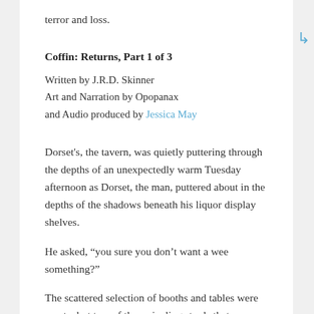terror and loss.
Coffin: Returns, Part 1 of 3
Written by J.R.D. Skinner
Art and Narration by Opopanax
and Audio produced by Jessica May
Dorset's, the tavern, was quietly puttering through the depths of an unexpectedly warm Tuesday afternoon as Dorset, the man, puttered about in the depths of the shadows beneath his liquor display shelves.
He asked, “you sure you don’t want a wee something?”
The scattered selection of booths and tables were empty, but two of the swiveling stools that marched along the bar were occupied. Will Coffin, still wearing his heavy leather jacket despite the unseasonal swelter,